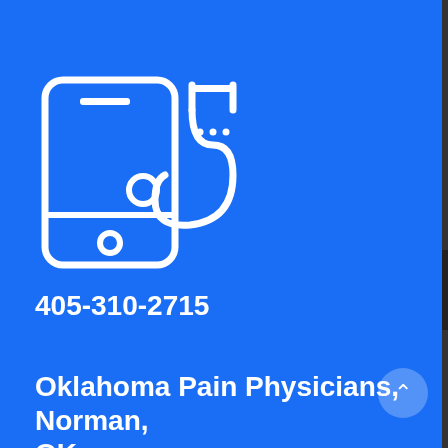[Figure (illustration): White line-art icon of a smartphone with a stethoscope on a blue background]
405-310-2715
Oklahoma Pain Physicians, Norman, OK